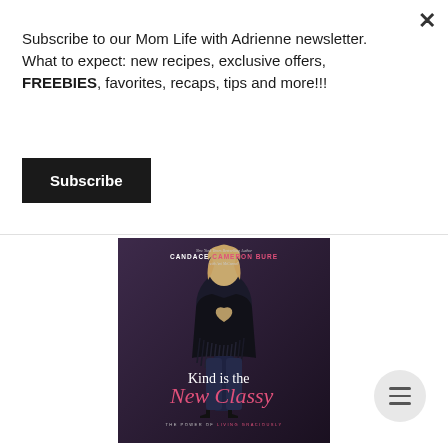Subscribe to our Mom Life with Adrienne newsletter. What to expect: new recipes, exclusive offers, FREEBIES, favorites, recaps, tips and more!!!
Subscribe
[Figure (photo): Book cover for 'Kind is the New Classy: The Power of Living Graciously' by Candace Cameron Bure with Ami McConnell. Features author in black outfit making a heart shape with hands against purple background.]